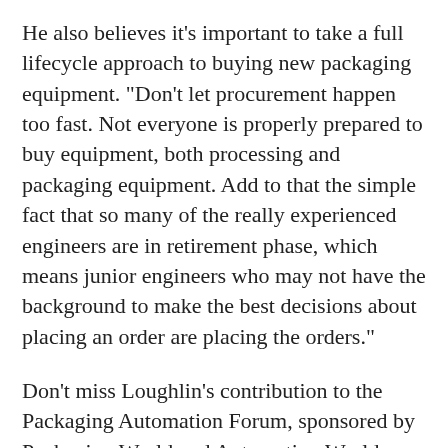He also believes it's important to take a full lifecycle approach to buying new packaging equipment. "Don't let procurement happen too fast. Not everyone is properly prepared to buy equipment, both processing and packaging equipment. Add to that the simple fact that so many of the really experienced engineers are in retirement phase, which means junior engineers who may not have the background to make the best decisions about placing an order are placing the orders."
Don't miss Loughlin's contribution to the Packaging Automation Forum, sponsored by Packaging World and Automation World, May 20 in Schaumburg, IL. Loughlin will be part of a panel discussion called "Controls and Integration for more Automation in Packaging"